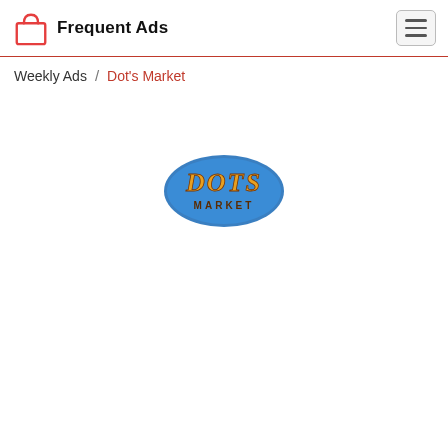[Figure (logo): Frequent Ads logo: red shopping bag icon with white lines, next to bold text 'Frequent Ads']
[Figure (logo): Hamburger menu button (three horizontal lines) in a rounded rectangle border]
Weekly Ads / Dot's Market
[Figure (logo): Dot's Market circular logo: blue circle background with orange/gold stylized text 'DOTS' and brown 'MARKET' text below]